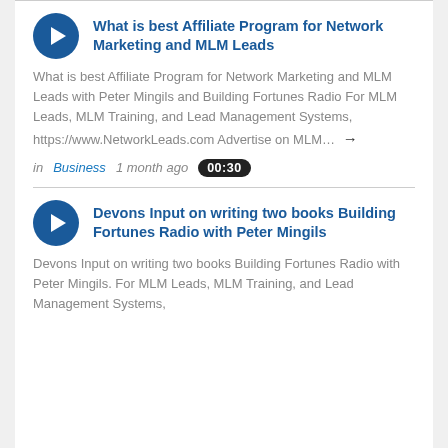What is best Affiliate Program for Network Marketing and MLM Leads
What is best Affiliate Program for Network Marketing and MLM Leads with Peter Mingils and Building Fortunes Radio For MLM Leads, MLM Training, and Lead Management Systems, https://www.NetworkLeads.com Advertise on MLM…
in Business  1 month ago  00:30
Devons Input on writing two books Building Fortunes Radio with Peter Mingils
Devons Input on writing two books Building Fortunes Radio with Peter Mingils. For MLM Leads, MLM Training, and Lead Management Systems,